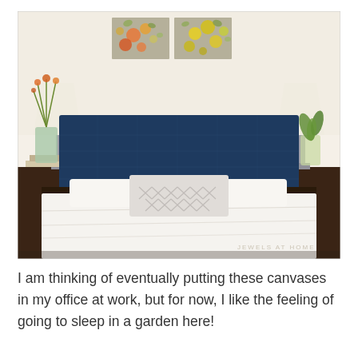[Figure (photo): Bedroom interior photo showing a bed with a navy blue quilted headboard, white bedding, a geometric patterned pillow in the center, two nightstands with lamps on either side, orange flowers in a vase on the left, a green plant on the right, and two abstract floral canvas paintings hanging on the beige wall above the headboard. A watermark reads 'JEWELS AT HOME' in the lower right corner.]
I am thinking of eventually putting these canvases in my office at work, but for now, I like the feeling of going to sleep in a garden here!